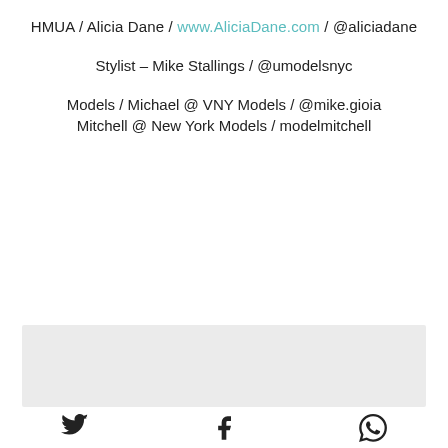HMUA / Alicia Dane / www.AliciaDane.com / @aliciadane
Stylist – Mike Stallings / @umodelsnyc
Models / Michael @ VNY Models / @mike.gioia
Mitchell @ New York Models / modelmitchell
[Figure (other): Gray rectangular banner/advertisement block]
[Figure (other): Social media share icons: Twitter bird, Facebook f, WhatsApp phone]